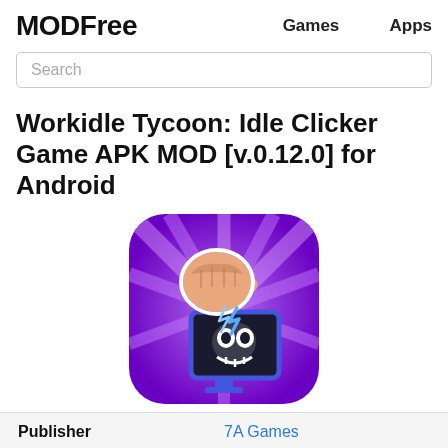MODFree   Games   Apps
Search
Workidle Tycoon: Idle Clicker Game APK MOD [v.0.12.0] for Android
[Figure (illustration): App icon for Workidle Tycoon: a purple background with light rays, a fist punching a dark monitor/computer display with a skull-like face, with blue lightning effects. Rounded square icon shape.]
| Publisher |  |
| --- | --- |
| Publisher | 7A Games |
| Genre | Simulation |